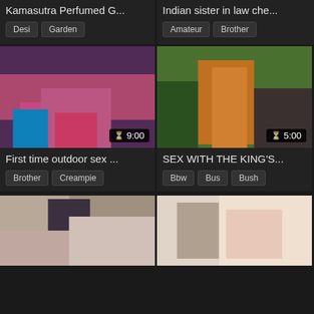Kamasutra Perfumed G...
Desi  Garden
Indian sister in law che...
Amateur  Brother
[Figure (photo): Outdoor scene with woman in pink saree, duration 9:00]
First time outdoor sex ...
Brother  Creampie
[Figure (photo): Outdoor scene with woman in colorful saree, duration 5:00]
SEX WITH THE KING'S...
Bbw  Bus  Bush
[Figure (photo): Kitchen scene with woman in floral dress]
[Figure (photo): Indoor scene with two people]